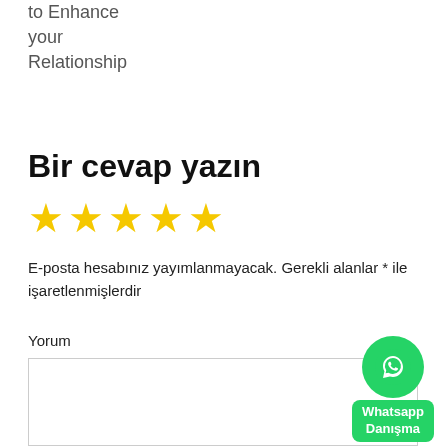to Enhance your Relationship
Bir cevap yazın
[Figure (other): Five yellow star rating icons in a row]
E-posta hesabınız yayımlanmayacak. Gerekli alanlar * ile işaretlenmişlerdir
Yorum
[Figure (other): Empty comment textarea input box]
[Figure (other): Whatsapp Danışma button with green circle and WhatsApp icon]